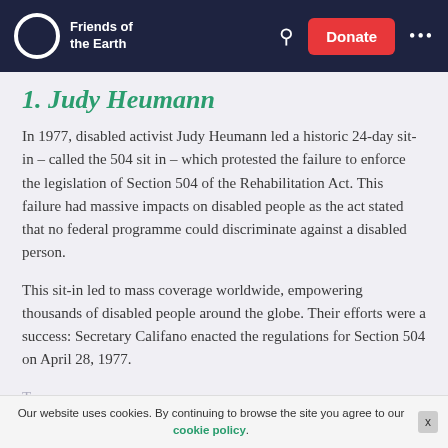Friends of the Earth | Donate
1. Judy Heumann
In 1977, disabled activist Judy Heumann led a historic 24-day sit-in – called the 504 sit in – which protested the failure to enforce the legislation of Section 504 of the Rehabilitation Act.  This failure had massive impacts on disabled people as the act stated that no federal programme could discriminate against a disabled person.
This sit-in led to mass coverage worldwide, empowering thousands of disabled people around the globe. Their efforts were a success: Secretary Califano enacted the regulations for Section 504 on April 28, 1977.
T... without which there ... be an Americans ...
Our website uses cookies. By continuing to browse the site you agree to our cookie policy.